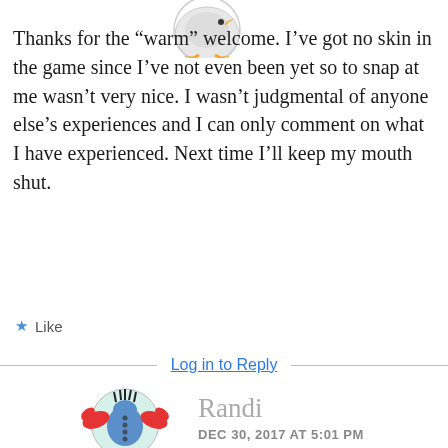[Figure (illustration): Cartoon bird avatar (goose/duck with yellow feet), partially visible at top]
Thanks for the “warm” welcome. I’ve got no skin in the game since I’ve not even been yet so to snap at me wasn’t very nice. I wasn’t judgmental of anyone else’s experiences and I can only comment on what I have experienced. Next time I’ll keep my mouth shut.
★ Like
Log in to Reply
[Figure (illustration): Cartoon crab/crustacean avatar with blue body and red claws, partially visible at bottom]
Randi
DEC 30, 2017 AT 5:01 PM